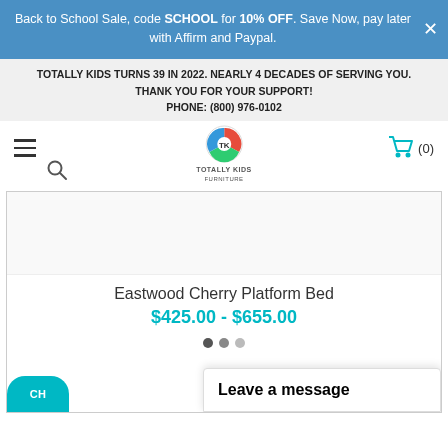Back to School Sale, code SCHOOL for 10% OFF. Save Now, pay later with Affirm and Paypal.
TOTALLY KIDS TURNS 39 IN 2022. NEARLY 4 DECADES OF SERVING YOU. THANK YOU FOR YOUR SUPPORT! PHONE: (800) 976-0102
[Figure (logo): Totally Kids Furniture logo with colorful circular icon]
Eastwood Cherry Platform Bed
$425.00 - $655.00
Leave a message